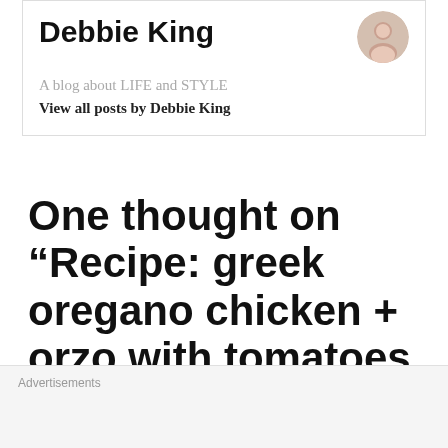Debbie King
A blog about LIFE and STYLE
View all posts by Debbie King
One thought on “Recipe: greek oregano chicken + orzo with tomatoes in garlic oil”
mistimaan says:
Advertisements